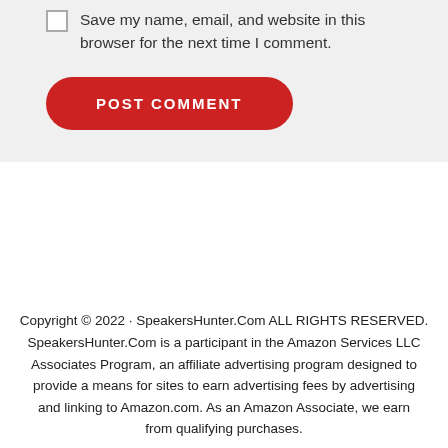Save my name, email, and website in this browser for the next time I comment.
POST COMMENT
Copyright © 2022 · SpeakersHunter.Com ALL RIGHTS RESERVED. SpeakersHunter.Com is a participant in the Amazon Services LLC Associates Program, an affiliate advertising program designed to provide a means for sites to earn advertising fees by advertising and linking to Amazon.com. As an Amazon Associate, we earn from qualifying purchases.